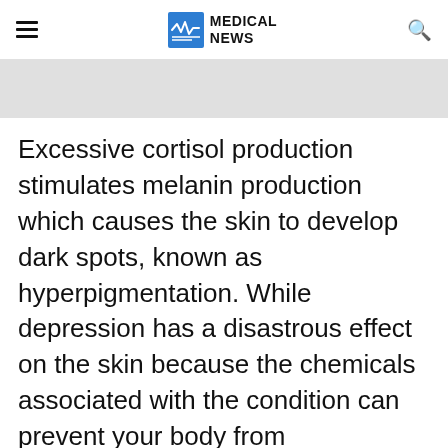MEDICAL NEWS
Excessive cortisol production stimulates melanin production which causes the skin to develop dark spots, known as hyperpigmentation. While depression has a disastrous effect on the skin because the chemicals associated with the condition can prevent your body from
Advertisement
[Figure (other): Advertisement banner: Text LiveLongDC to 888-811 to find naloxone near you.]